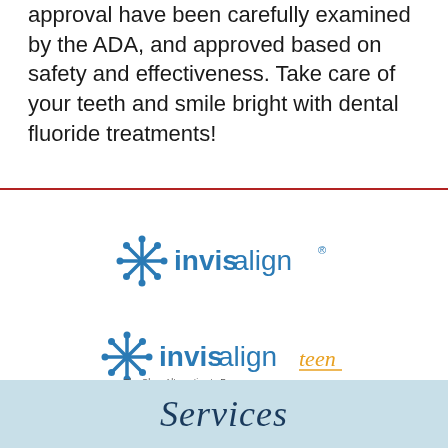approval have been carefully examined by the ADA, and approved based on safety and effectiveness. Take care of your teeth and smile bright with dental fluoride treatments!
[Figure (logo): Invisalign logo with blue snowflake/asterisk icon and 'invisalign' text with registered trademark symbol]
[Figure (logo): Invisalign Teen logo with blue snowflake/asterisk icon, 'invisalign' in blue and 'teen' in orange script, tagline 'The Clear Alternative to Braces']
Services